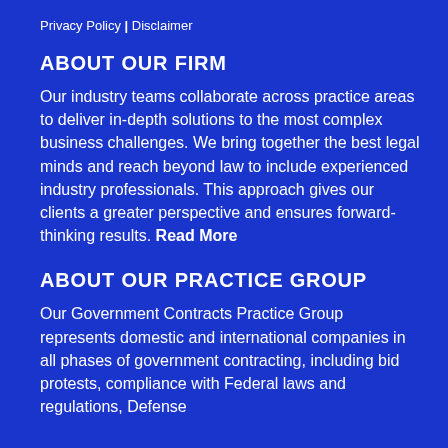Privacy Policy | Disclaimer
ABOUT OUR FIRM
Our industry teams collaborate across practice areas to deliver in-depth solutions to the most complex business challenges. We bring together the best legal minds and reach beyond law to include experienced industry professionals. This approach gives our clients a greater perspective and ensures forward-thinking results. Read More
ABOUT OUR PRACTICE GROUP
Our Government Contracts Practice Group represents domestic and international companies in all phases of government contracting, including bid protests, compliance with Federal laws and regulations, Defense